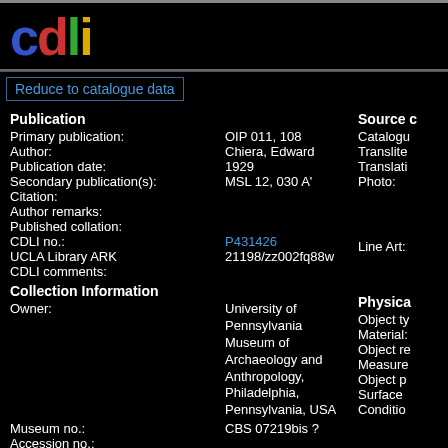cdli
Reduce to catalogue data
Publication
Primary publication: OIP 011, 108
Author: Chiera, Edward
Publication date: 1929
Secondary publication(s): MSL 12, 030 A'
Citation:
Author remarks:
Published collation:
CDLI no.: P431426
UCLA Library ARK 21198/zz002fq88w
CDLI comments:
Source c
Catalogue
Translite
Translati
Photo:
Line Art:
Collection Information
Owner: University of Pennsylvania Museum of Archaeology and Anthropology, Philadelphia, Pennsylvania, USA
Museum no.: CBS 07219bis ?
Accession no.:
Acquisition history:
Physical
Object ty
Material:
Object re
Measure
Object p
Surface
Conditio
Text Content: